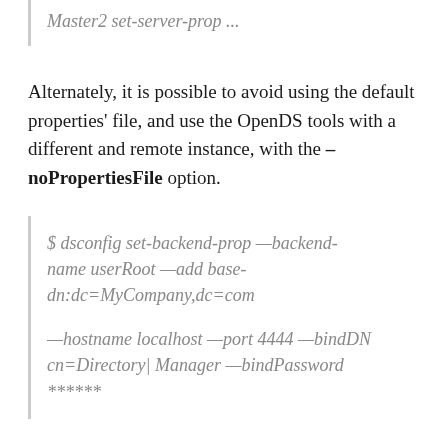Master2 set-server-prop ...
Alternately, it is possible to avoid using the default properties' file, and use the OpenDS tools with a different and remote instance, with the –noPropertiesFile option.
$ dsconfig set-backend-prop —backend-name userRoot —add base-dn:dc=MyCompany,dc=com

—hostname localhost —port 4444 —bindDN cn=Directory| Manager —bindPassword
******